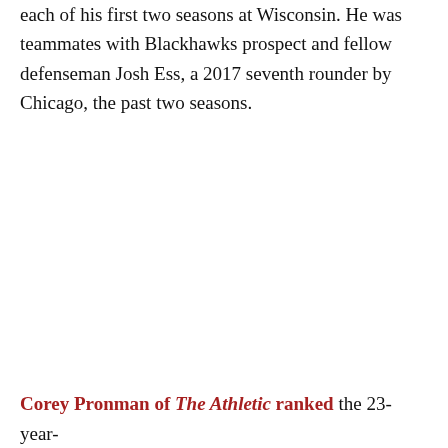each of his first two seasons at Wisconsin. He was teammates with Blackhawks prospect and fellow defenseman Josh Ess, a 2017 seventh rounder by Chicago, the past two seasons.
Corey Pronman of The Athletic ranked the 23-year-